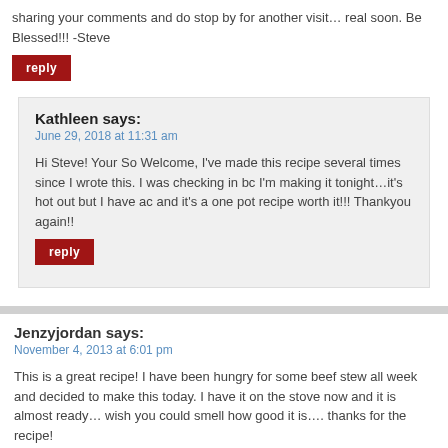sharing your comments and do stop by for another visit… real soon. Be Blessed!!! -Steve
reply
Kathleen says:
June 29, 2018 at 11:31 am
Hi Steve! Your So Welcome, I've made this recipe several times since I wrote this. I was checking in bc I'm making it tonight…it's hot out but I have ac and it's a one pot recipe worth it!!! Thankyou again!!
reply
Jenzyjordan says:
November 4, 2013 at 6:01 pm
This is a great recipe! I have been hungry for some beef stew all week and decided to make this today. I have it on the stove now and it is almost ready… wish you could smell how good it is…. thanks for the recipe!